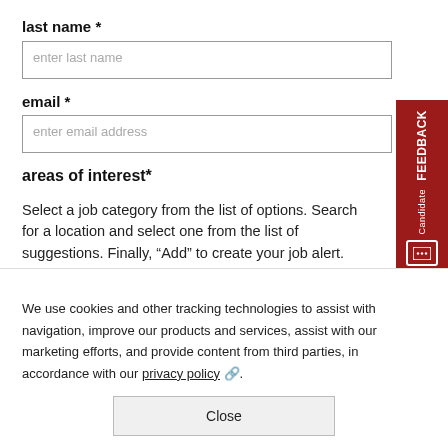last name *
enter last name
email *
enter email address
areas of interest*
Select a job category from the list of options. Search for a location and select one from the list of suggestions. Finally, “Add” to create your job alert.
Job Category *
Select a Job Category
[Figure (screenshot): Candidate FEEDBACK tab in red on the right side of the page]
We use cookies and other tracking technologies to assist with navigation, improve our products and services, assist with our marketing efforts, and provide content from third parties, in accordance with our privacy policy.
Close